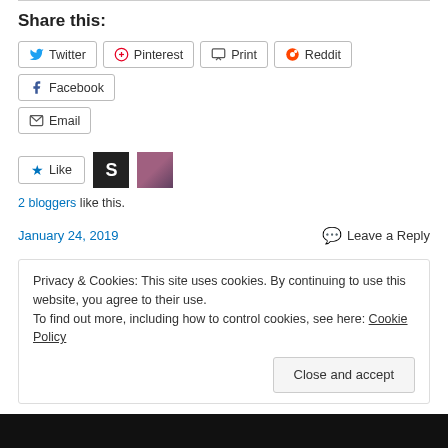Share this:
Twitter  Pinterest  Print  Reddit  Facebook  Email
Like  [S avatar] [photo avatar]  2 bloggers like this.
January 24, 2019    Leave a Reply
Privacy & Cookies: This site uses cookies. By continuing to use this website, you agree to their use.
To find out more, including how to control cookies, see here: Cookie Policy
Close and accept
[Figure (photo): Dark photo strip at bottom of page]